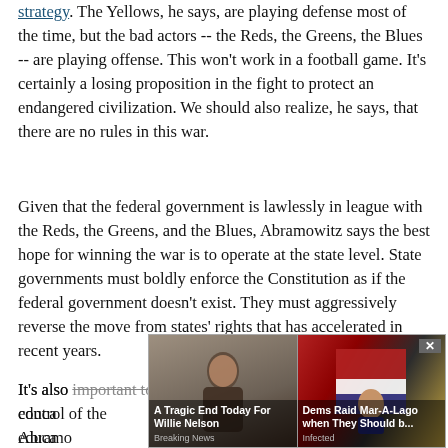strategy.  The Yellows, he says, are playing defense most of the time, but the bad actors -- the Reds, the Greens, the Blues -- are playing offense.  This won't work in a football game.  It's certainly a losing proposition in the fight to protect an endangered civilization.  We should also realize, he says, that there are no rules in this war.
Given that the federal government is lawlessly in league with the Reds, the Greens, and the Blues, Abramowitz says the best hope for winning the war is to operate at the state level.  State governments must boldly enforce the Constitution as if the federal government doesn't exist. They must aggressively reverse the move from states' rights that has accelerated in recent years.
It's also important to wrest back control of the education...
[Figure (other): Advertisement overlay with two news items: 'A Tragic End Today For Willie Nelson - Breaking News' and 'Dems Raid Mar-A-Lago when They Should b... - Infected', with a close button (×).]